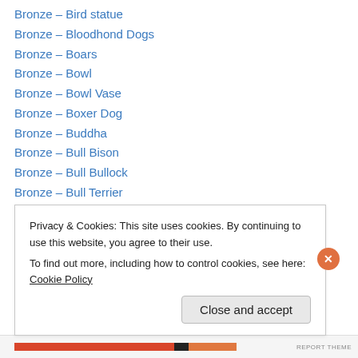Bronze – Bird statue
Bronze – Bloodhond Dogs
Bronze – Boars
Bronze – Bowl
Bronze – Bowl Vase
Bronze – Boxer Dog
Bronze – Buddha
Bronze – Bull Bison
Bronze – Bull Bullock
Bronze – Bull Terrier
Bronze – Bust
Bronze – Candelabras
Bronze – Celtic
Bronze – Chi...
Privacy & Cookies: This site uses cookies. By continuing to use this website, you agree to their use. To find out more, including how to control cookies, see here: Cookie Policy